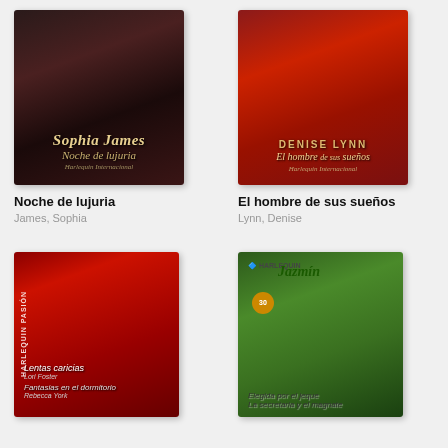[Figure (illustration): Book cover: Noche de lujuria by Sophia James, dark romantic cover with couple embracing]
Noche de lujuria
James, Sophia
[Figure (illustration): Book cover: El hombre de sus sueños by Denise Lynn, red dress woman on ornate background]
El hombre de sus sueños
Lynn, Denise
[Figure (illustration): Book cover: Lentas caricias / Fantasias en el dormitorio, Harlequin Pasion, dark romance cover]
[Figure (illustration): Book cover: Elegida por el jeque / La secretaria y el magnate, Harlequin Jazmin, tropical setting with couple]